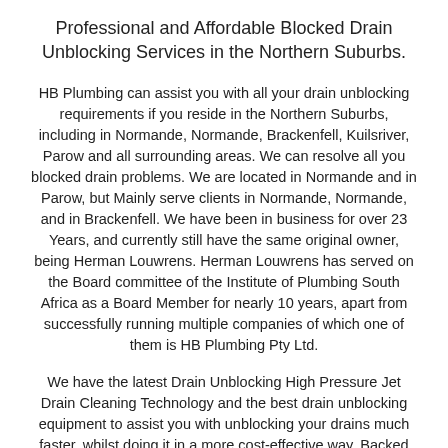Professional and Affordable Blocked Drain Unblocking Services in the Northern Suburbs.
HB Plumbing can assist you with all your drain unblocking requirements if you reside in the Northern Suburbs, including in Normande, Normande, Brackenfell, Kuilsriver, Parow and all surrounding areas. We can resolve all you blocked drain problems. We are located in Normande and in Parow, but Mainly serve clients in Normande, Normande, and in Brackenfell. We have been in business for over 23 Years, and currently still have the same original owner, being Herman Louwrens. Herman Louwrens has served on the Board committee of the Institute of Plumbing South Africa as a Board Member for nearly 10 years, apart from successfully running multiple companies of which one of them is HB Plumbing Pty Ltd.
We have the latest Drain Unblocking High Pressure Jet Drain Cleaning Technology and the best drain unblocking equipment to assist you with unblocking your drains much faster, whilst doing it in a more cost-effective way. Backed up by decades of experience in unblocking drains, you wouldn't need to wonder whether there's any better alternative in comaparsion to us for resolve all your drain unblocking or plumbing problems in Cape Town. We are fully accredited by